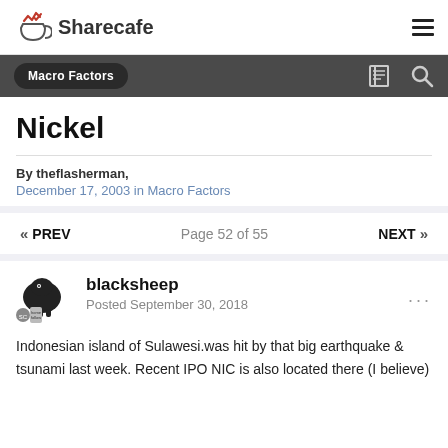Sharecafe
Macro Factors
Nickel
By theflasherman,
December 17, 2003 in Macro Factors
« PREV    Page 52 of 55    NEXT »
blacksheep
Posted September 30, 2018
Indonesian island of Sulawesi.was hit by that big earthquake & tsunami last week. Recent IPO NIC is also located there (I believe)